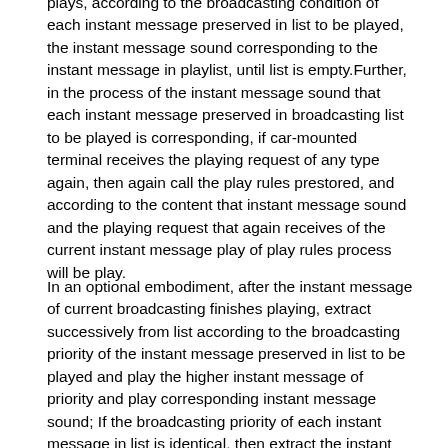plays, according to the broadcasting condition of each instant message preserved in list to be played, the instant message sound corresponding to the instant message in playlist, until list is empty.Further, in the process of the instant message sound that each instant message preserved in broadcasting list to be played is corresponding, if car-mounted terminal receives the playing request of any type again, then again call the play rules prestored, and according to the content that instant message sound and the playing request that again receives of the current instant message play of play rules process will be play.
In an optional embodiment, after the instant message of current broadcasting finishes playing, extract successively from list according to the broadcasting priority of the instant message preserved in list to be played and play the higher instant message of priority and play corresponding instant message sound; If the broadcasting priority of each instant message in list is identical, then extract the instant message the instant message sound of broadcasting correspondence preserved in list according to the time of reception receiving instant message.